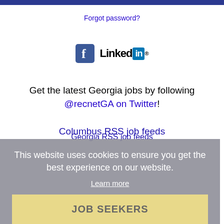Forgot password?
[Figure (logo): Facebook logo icon and LinkedIn logo side by side]
Get the latest Georgia jobs by following @recnetGA on Twitter!
Columbus RSS job feeds
This website uses cookies to ensure you get the best experience on our website.
Learn more
JOB SEEKERS
Search Columbus jobs
Post your resume